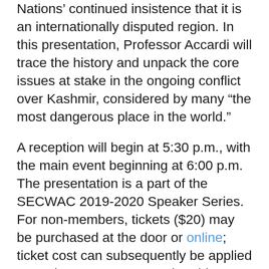Nations' continued insistence that it is an internationally disputed region. In this presentation, Professor Accardi will trace the history and unpack the core issues at stake in the ongoing conflict over Kashmir, considered by many “the most dangerous place in the world.”
A reception will begin at 5:30 p.m., with the main event beginning at 6:00 p.m. The presentation is a part of the SECWAC 2019-2020 Speaker Series. For non-members, tickets ($20) may be purchased at the door or online; ticket cost can subsequently be applied towards a SECWAC membership.  Attendance is free for SECWAC members (and their guests). Pro-rated membership February through June 2020 is $42.50 per person; $12.50 for young professionals under 35; free for college and high